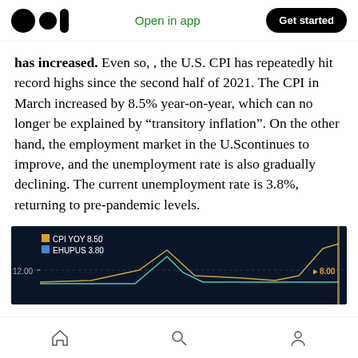Medium app header with logo, Open in app, Get started
has increased. Even so, , the U.S. CPI has repeatedly hit record highs since the second half of 2021. The CPI in March increased by 8.5% year-on-year, which can no longer be explained by “transitory inflation”. On the other hand, the employment market in the U.Scontinues to improve, and the unemployment rate is also gradually declining. The current unemployment rate is 3.8%, returning to pre-pandemic levels.
[Figure (line-chart): Dark background line chart showing CPI YOY at 8.50 (orange/gold line) and EHUPUS at 3.80 (blue line). Left y-axis shows 12.00, right y-axis shows 8.00.]
Home, Search, Profile navigation icons